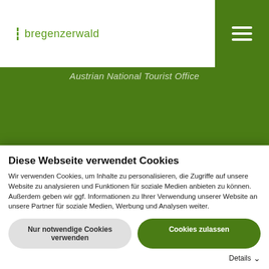bregenzenwald
[Figure (screenshot): Austrian National Tourist Office text on green background]
Regionale Partner
[Figure (logo): werkraum bregenzerwald logo in white on green background]
Diese Webseite verwendet Cookies
Wir verwenden Cookies, um Inhalte zu personalisieren, die Zugriffe auf unsere Website zu analysieren und Funktionen für soziale Medien anbieten zu können. Außerdem geben wir ggf. Informationen zu Ihrer Verwendung unserer Website an unsere Partner für soziale Medien, Werbung und Analysen weiter.
Nur notwendige Cookies verwenden
Cookies zulassen
Details